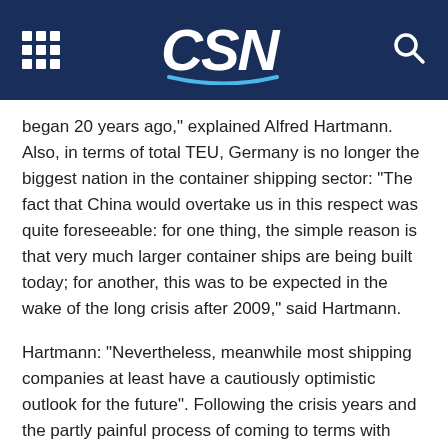CSN
began 20 years ago," explained Alfred Hartmann. Also, in terms of total TEU, Germany is no longer the biggest nation in the container shipping sector: "The fact that China would overtake us in this respect was quite foreseeable: for one thing, the simple reason is that very much larger container ships are being built today; for another, this was to be expected in the wake of the long crisis after 2009," said Hartmann.
Hartmann: "Nevertheless, meanwhile most shipping companies at least have a cautiously optimistic outlook for the future". Following the crisis years and the partly painful process of coming to terms with them, today many are fortunate in focusing on the future and the challenges it holds in store. "Unfortunately, the earnings situation varies quite substantially and is volatile on top – depending on the industry segment, the shipping areas and partly also even daily events," said the VDR President. He indicated, however, that the